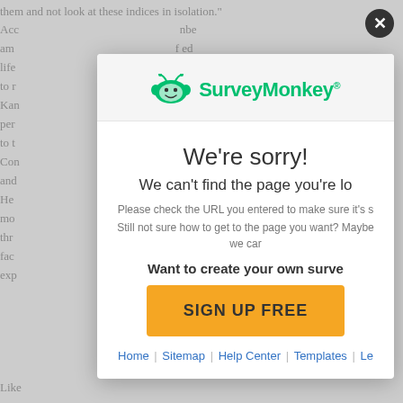them and not look at these indices in isolation."
Acc ... nbe am ... f ed life ... of s to r ... Kan ... tha per ... as i to t ... ul e Con ... hat and ... tan He ... ata mo ... uch thr ... ath fac ... ata exp ... cate Like ...
[Figure (screenshot): SurveyMonkey 404 error modal overlay showing 'We're sorry! We can't find the page you're lo...' with a SIGN UP FREE button and footer links: Home | Sitemap | Help Center | Templates | Le...]
We're sorry!
We can't find the page you're lo
Please check the URL you entered to make sure it's s Still not sure how to get to the page you want? Maybe we car
Want to create your own surve
SIGN UP FREE
Home | Sitemap | Help Center | Templates | Le